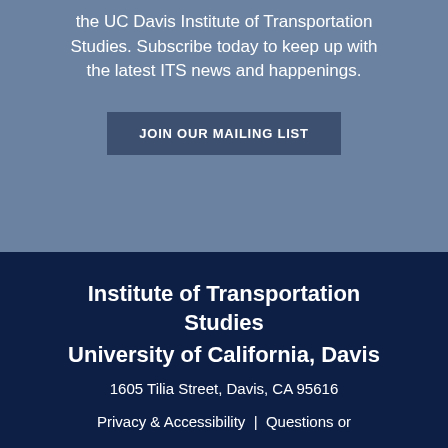the UC Davis Institute of Transportation Studies. Subscribe today to keep up with the latest ITS news and happenings.
JOIN OUR MAILING LIST
Institute of Transportation Studies
University of California, Davis
1605 Tilia Street, Davis, CA 95616
Privacy & Accessibility  |  Questions or